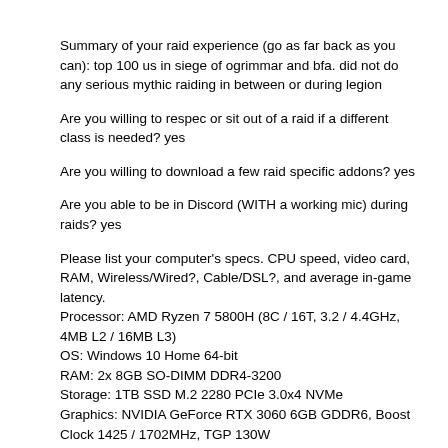Summary of your raid experience (go as far back as you can): top 100 us in siege of ogrimmar and bfa. did not do any serious mythic raiding in between or during legion
Are you willing to respec or sit out of a raid if a different class is needed? yes
Are you willing to download a few raid specific addons? yes
Are you able to be in Discord (WITH a working mic) during raids? yes
Please list your computer's specs. CPU speed, video card, RAM, Wireless/Wired?, Cable/DSL?, and average in-game latency.
Processor: AMD Ryzen 7 5800H (8C / 16T, 3.2 / 4.4GHz, 4MB L2 / 16MB L3)
OS: Windows 10 Home 64-bit
RAM: 2x 8GB SO-DIMM DDR4-3200
Storage: 1TB SSD M.2 2280 PCIe 3.0x4 NVMe
Graphics: NVIDIA GeForce RTX 3060 6GB GDDR6, Boost Clock 1425 / 1702MHz, TGP 130W
Display: 15.6" FHD (1920x1080) IPS 300nits Anti-glare, 165Hz, 100% sRGB, Dolby Vision, Free-Sync, G-Sync, DC dimmer
Is there anything else you think we should know?
no